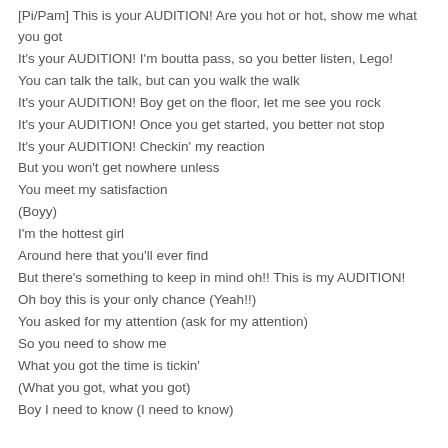[Pi/Pam] This is your AUDITION! Are you hot or hot, show me what you got
It's your AUDITION! I'm boutta pass, so you better listen, Lego!
You can talk the talk, but can you walk the walk
It's your AUDITION! Boy get on the floor, let me see you rock
It's your AUDITION! Once you get started, you better not stop
It's your AUDITION! Checkin' my reaction
But you won't get nowhere unless
You meet my satisfaction
(Boyy)
I'm the hottest girl
Around here that you'll ever find
But there's something to keep in mind oh!! This is my AUDITION!
Oh boy this is your only chance (Yeah!!)
You asked for my attention (ask for my attention)
So you need to show me
What you got the time is tickin'
(What you got, what you got)
Boy I need to know (I need to know)